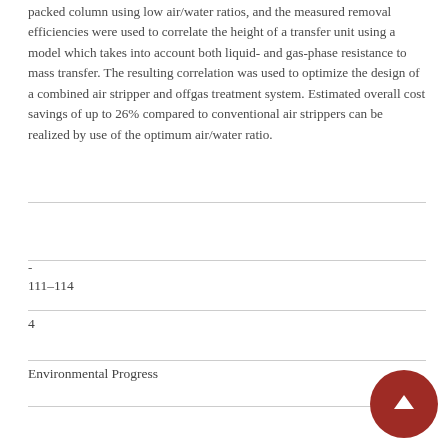packed column using low air/water ratios, and the measured removal efficiencies were used to correlate the height of a transfer unit using a model which takes into account both liquid- and gas-phase resistance to mass transfer. The resulting correlation was used to optimize the design of a combined air stripper and offgas treatment system. Estimated overall cost savings of up to 26% compared to conventional air strippers can be realized by use of the optimum air/water ratio.
-
111-114
4
Environmental Progress